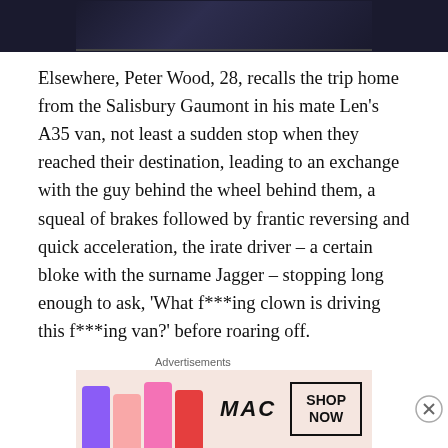[Figure (photo): Dark screenshot/video still at the top of the page]
Elsewhere, Peter Wood, 28, recalls the trip home from the Salisbury Gaumont in his mate Len's A35 van, not least a sudden stop when they reached their destination, leading to an exchange with the guy behind the wheel behind them, a squeal of brakes followed by frantic reversing and quick acceleration, the irate driver – a certain bloke with the surname Jagger – stopping long enough to ask, 'What f***ing clown is driving this f***ing van?' before roaring off.
And before I roar on, I'll mention Ray Hulme, 16, and how he reckoned he couldn't understand Mick and Brian when they pulled up outside Crewe Town Hall on November
Advertisements
[Figure (photo): MAC Cosmetics advertisement banner showing lipsticks and SHOP NOW button]